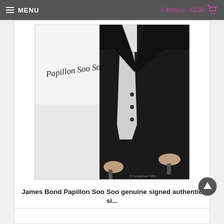MENU   0 item(s) - £0.00
[Figure (photo): Black and white signed photo showing a person in dark jacket, with cursive signature reading 'Papillon Soo Soo' on the white background area of the photo]
James Bond Papillon Soo Soo genuine signed authentic si...
£29.95